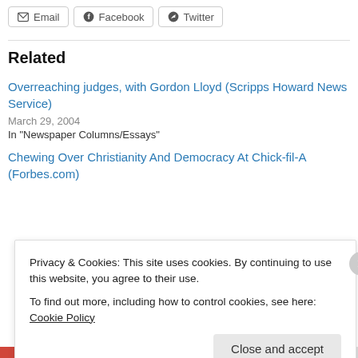Email
Facebook
Twitter
Related
Overreaching judges, with Gordon Lloyd (Scripps Howard News Service)
March 29, 2004
In "Newspaper Columns/Essays"
Chewing Over Christianity And Democracy At Chick-fil-A (Forbes.com)
Privacy & Cookies: This site uses cookies. By continuing to use this website, you agree to their use.
To find out more, including how to control cookies, see here: Cookie Policy